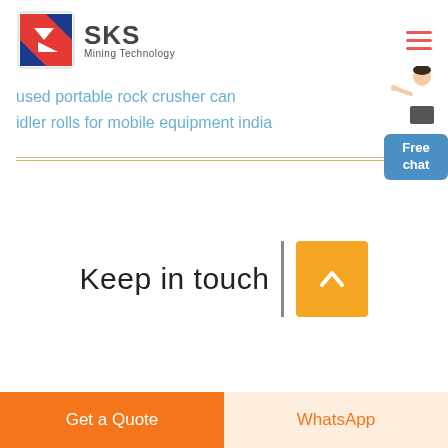[Figure (logo): SKS Mining Technology logo with blue and red geometric icon and text]
used portable rock crusher can
idler rolls for mobile equipment india
[Figure (illustration): Customer service representative figure pointing, next to a blue Free chat button]
Keep in touch
Get a Quote
WhatsApp